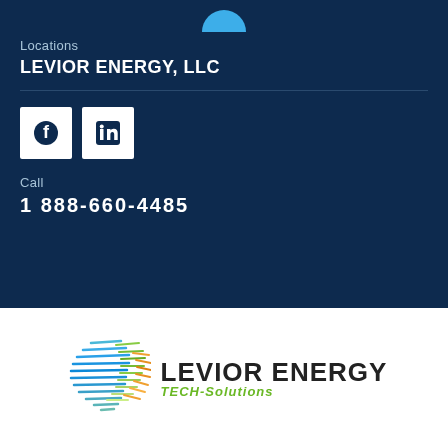[Figure (other): Partial blue circle at top center, cropped]
Locations
LEVIOR ENERGY, LLC
[Figure (illustration): Facebook and LinkedIn social media icon buttons (white squares with dark icons)]
Call
1 888-660-4485
[Figure (logo): Levior Energy TECH-Solutions logo with globe-like sphere icon made of colorful lines (blue, green, orange) and bold dark company name with green italic TECH-Solutions subtitle]